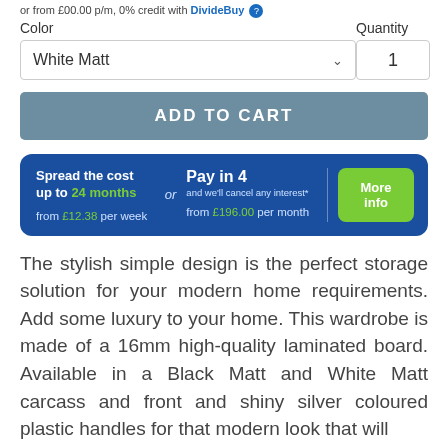or from £00.00 p/m, 0% credit with DivideBuy
Color
Quantity
White Matt
1
ADD TO CART
Spread the cost up to 24 months or from £12.38 per week Pay in 4 and we'll cancel any interest* from £196.00 per month More info
The stylish simple design is the perfect storage solution for your modern home requirements. Add some luxury to your home. This wardrobe is made of a 16mm high-quality laminated board. Available in a Black Matt and White Matt carcass and front and shiny silver coloured plastic handles for that modern look that will